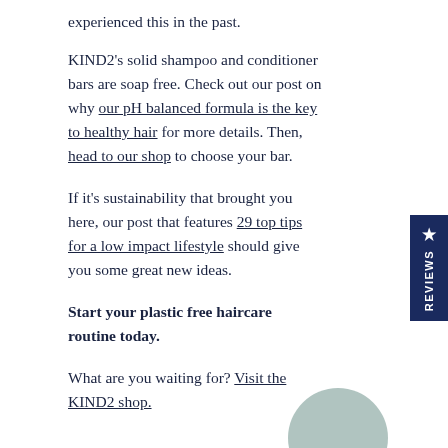experienced this in the past.
KIND2's solid shampoo and conditioner bars are soap free. Check out our post on why our pH balanced formula is the key to healthy hair for more details. Then, head to our shop to choose your bar.
If it's sustainability that brought you here, our post that features 29 top tips for a low impact lifestyle should give you some great new ideas.
Start your plastic free haircare routine today.
What are you waiting for? Visit the KIND2 shop.
[Figure (logo): Circular logo partially visible at bottom right of page]